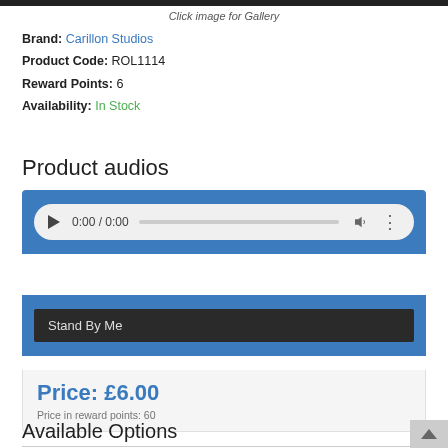[Figure (screenshot): Top black image bar (partially cropped product image)]
Click image for Gallery
Brand: Carillon Studios
Product Code: ROL1114
Reward Points: 6
Availability: In Stock
Product audios
[Figure (screenshot): Audio player widget with play button, time display 0:00 / 0:00, progress bar, volume and options icons on a blue background]
Stand By Me
Price: £6.00
Price in reward points: 60
Available Options